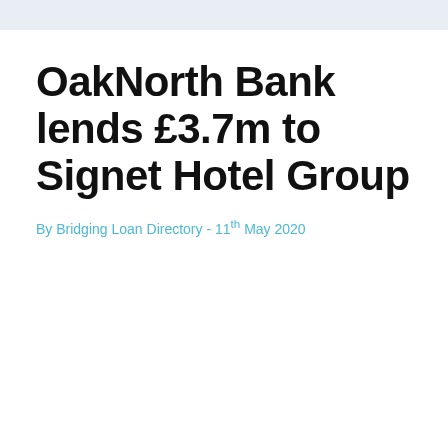OakNorth Bank lends £3.7m to Signet Hotel Group
By Bridging Loan Directory - 11th May 2020